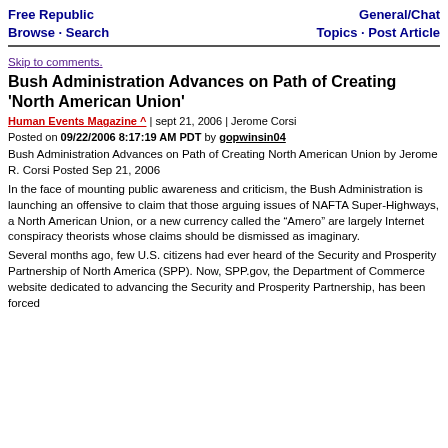Free Republic Browse · Search | General/Chat Topics · Post Article
Skip to comments.
Bush Administration Advances on Path of Creating 'North American Union'
Human Events Magazine ^ | sept 21, 2006 | Jerome Corsi
Posted on 09/22/2006 8:17:19 AM PDT by gopwinsin04
Bush Administration Advances on Path of Creating North American Union by Jerome R. Corsi Posted Sep 21, 2006
In the face of mounting public awareness and criticism, the Bush Administration is launching an offensive to claim that those arguing issues of NAFTA Super-Highways, a North American Union, or a new currency called the “Amero” are largely Internet conspiracy theorists whose claims should be dismissed as imaginary.
Several months ago, few U.S. citizens had ever heard of the Security and Prosperity Partnership of North America (SPP). Now, SPP.gov, the Department of Commerce website dedicated to advancing the Security and Prosperity Partnership, has been forced